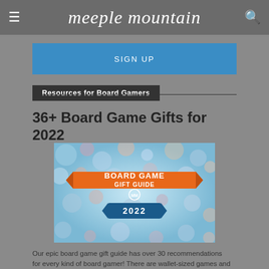meeple mountain
SIGN UP
Resources for Board Gamers
36+ Board Game Gifts for 2022
[Figure (illustration): Board Game Gift Guide 2022 logo/badge image with orange ribbon banner and teal/blue background]
Our epic board game gift guide has over 30 recommendations for every kind of board gamer! There are wallet-sized games and wallet-friendly